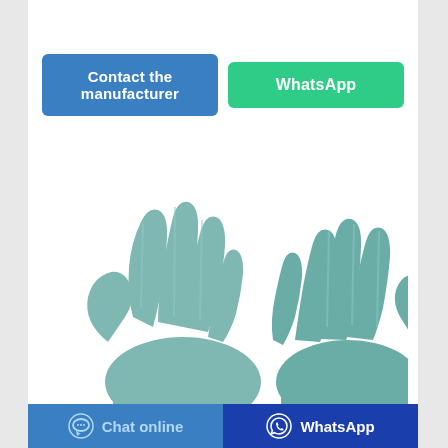[Figure (other): Two teal/mint colored latex/nitrile disposable gloves shown side by side, palms facing viewer, fingers spread upward]
Glove | Latex Glove | Glove
[Figure (other): Bottom navigation bar with Chat online button (blue with chat bubble icon) and WhatsApp button (dark blue with WhatsApp icon)]